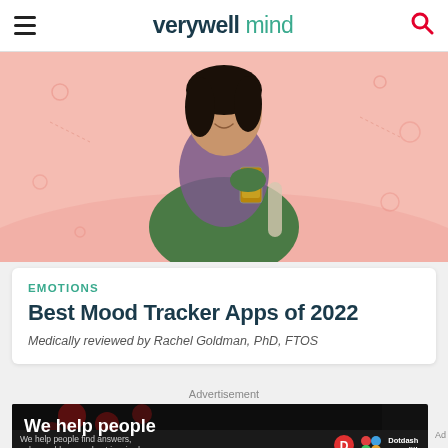verywell mind
[Figure (photo): A young Asian woman smiling and looking at her phone, wearing a green jacket and purple scarf, against a pink illustrated background with decorative shapes.]
EMOTIONS
Best Mood Tracker Apps of 2022
Medically reviewed by Rachel Goldman, PhD, FTOS
Advertisement
[Figure (screenshot): Advertisement banner: dark background with large white text 'We help people'. Bottom strip shows 'We help people find answers, solve problems and get inspired.' with Dotdash Meredith logo.]